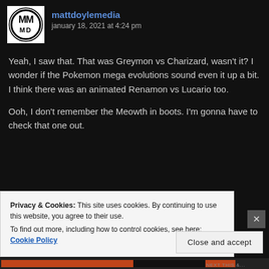[Figure (logo): mattdoylemedia circular logo with MM initials in black and white]
mattdoylemedia
january 18, 2021 at 4:24 pm
Yeah, I saw that. That was Greymon vs Charizard, wasn't it? I wonder if the Pokemon mega evolutions sound even it up a bit. I think there was an animated Renamon vs Lucario too.
Ooh, I don't remember the Meowth in boots. I'm gonna have to check that one out.
Privacy & Cookies: This site uses cookies. By continuing to use this website, you agree to their use.
To find out more, including how to control cookies, see here: Cookie Policy
Close and accept